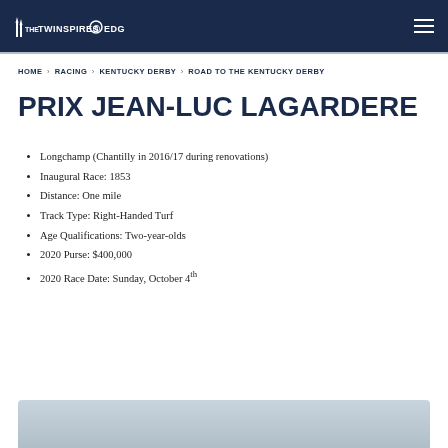THE TWINSPIRES EDGE
HOME › RACING › KENTUCKY DERBY › ROAD TO THE KENTUCKY DERBY
PRIX JEAN-LUC LAGARDERE
Longchamp (Chantilly in 2016/17 during renovations)
Inaugural Race: 1853
Distance: One mile
Track Type: Right-Handed Turf
Age Qualifications: Two-year-olds
2020 Purse: $400,000
2020 Race Date: Sunday, October 4th
[Figure (photo): Partial horse racing image at bottom of page]